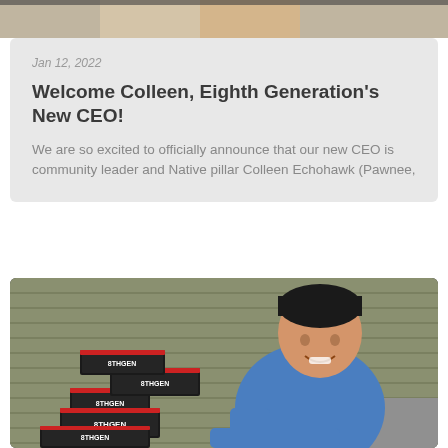[Figure (photo): Top cropped photo strip showing a person, partially visible at the top of the page]
Jan 12, 2022
Welcome Colleen, Eighth Generation's New CEO!
We are so excited to officially announce that our new CEO is community leader and Native pillar Colleen Echohawk (Pawnee,
[Figure (photo): A smiling man in a blue t-shirt leaning on stacked black boxes labeled with 8th Generation branding, posed outdoors against a house siding]